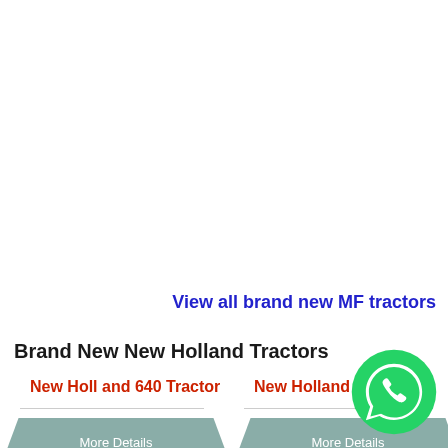View all brand new MF tractors
Brand New New Holland Tractors
New Holland 640 Tractor
New Holland 70-56
[Figure (other): WhatsApp contact button - green circle with white chat bubble/phone icon]